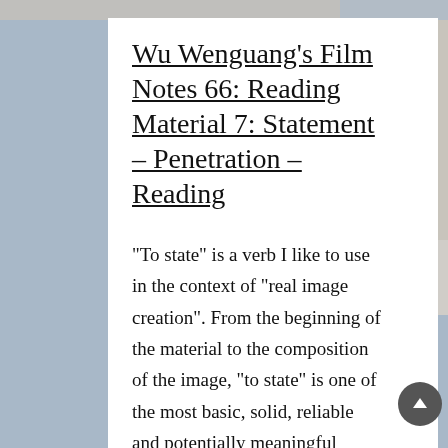Wu Wenguang's Film Notes 66: Reading Material 7: Statement – Penetration – Reading
“To state” is a verb I like to use in the context of “real image creation”. From the beginning of the material to the composition of the image, “to state” is one of the most basic, solid, reliable and potentially meaningful “actions”. To state a